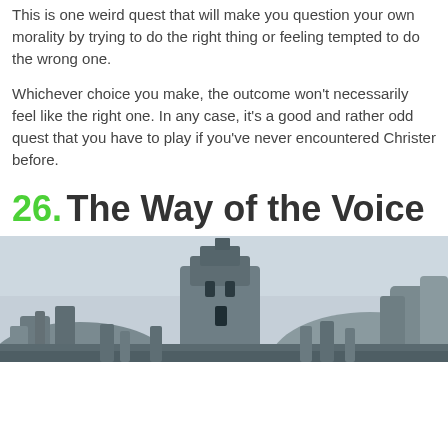This is one weird quest that will make you question your own morality by trying to do the right thing or feeling tempted to do the wrong one.
Whichever choice you make, the outcome won’t necessarily feel like the right one. In any case, it’s a good and rather odd quest that you have to play if you’ve never encountered Christer before.
26. The Way of the Voice
[Figure (photo): A fantasy video game scene showing ancient stone ruins or structures with rocky formations in a grey overcast sky environment, likely from the game Skyrim.]